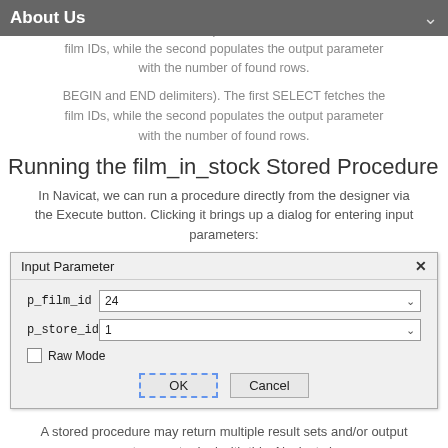About Us
SELECT statements in the procedure body (between the BEGIN and END delimiters). The first SELECT fetches the film IDs, while the second populates the output parameter with the number of found rows.
Running the film_in_stock Stored Procedure
In Navicat, we can run a procedure directly from the designer via the Execute button. Clicking it brings up a dialog for entering input parameters:
[Figure (screenshot): Input Parameter dialog box with fields p_film_id (value: 24), p_store_id (value: 1), a Raw Mode checkbox, and OK/Cancel buttons]
A stored procedure may return multiple result sets and/or output parameters, so to deal with this, Navicat shows